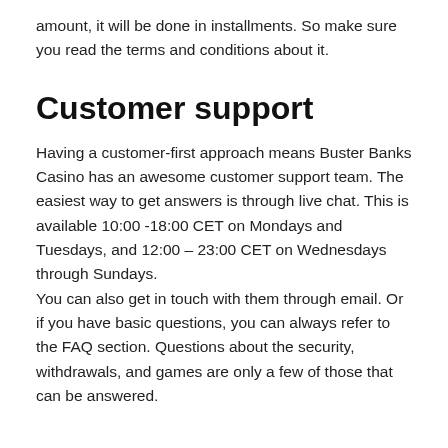amount, it will be done in installments. So make sure you read the terms and conditions about it.
Customer support
Having a customer-first approach means Buster Banks Casino has an awesome customer support team. The easiest way to get answers is through live chat. This is available 10:00 -18:00 CET on Mondays and Tuesdays, and 12:00 – 23:00 CET on Wednesdays through Sundays.
You can also get in touch with them through email. Or if you have basic questions, you can always refer to the FAQ section. Questions about the security, withdrawals, and games are only a few of those that can be answered.
Buster Banks Mobile Review